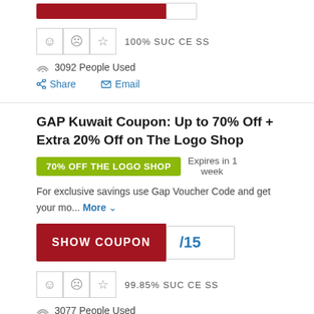[Figure (other): Red coupon bar with white code box (top, partially visible)]
[Figure (other): Rating icons row: smiley, frown, star, followed by 100% SUCCESS text]
3092 People Used
Share   Email
GAP Kuwait Coupon: Up to 70% Off + Extra 20% Off on The Logo Shop
[Figure (other): Green badge: 70% OFF THE LOGO SHOP, Expires in 1 week]
For exclusive savings use Gap Voucher Code and get your mo... More
[Figure (other): SHOW COUPON red button with /15 code box]
[Figure (other): Rating icons row: smiley, frown, star, followed by 99.85% SUCCESS text]
3077 People Used (partially visible)